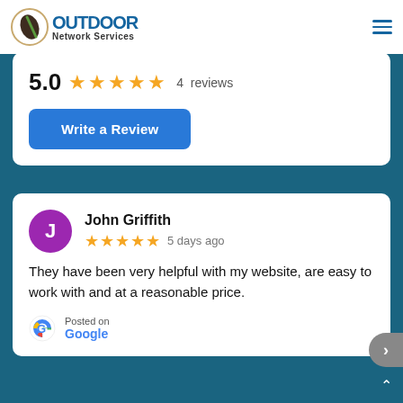[Figure (logo): Outdoor Network Services logo with circular icon and text]
5.0  ★★★★★  4  reviews
Write a Review
John Griffith
★★★★★  5 days ago
They have been very helpful with my website, are easy to work with and at a reasonable price.
Posted on Google